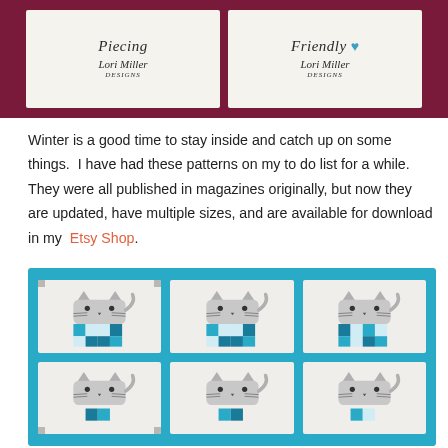[Figure (photo): Two quilting pattern cards displayed on a dark burgundy/maroon background. Left card shows 'Piecing' with 'Lori Miller Designs' script logo. Right card shows 'Friendly' with a teal heart icon and 'Lori Miller Designs' script logo.]
Winter is a good time to stay inside and catch up on some things.  I have had these patterns on my to do list for a while.  They were all published in magazines originally, but now they are updated, have multiple sizes, and are available for download in my  Etsy Shop.
[Figure (photo): A quilt featuring six cat blocks arranged in a 3x2 grid with teal/turquoise sashing. Each cat block shows a gray cat face with ears, whiskers, and a patchwork body in teal, light blue, and white squares.]